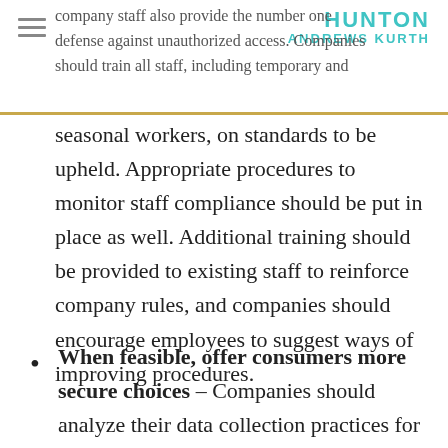HUNTON ANDREWS KURTH
company staff also provide the number one defense against unauthorized access. Companies should train all staff, including temporary and seasonal workers, on standards to be upheld. Appropriate procedures to monitor staff compliance should be put in place as well. Additional training should be provided to existing staff to reinforce company rules, and companies should encourage employees to suggest ways of improving procedures.
When feasible, offer consumers more secure choices – Companies should analyze their data collection practices for both business operations and products and services they offer to consumers. Products should be designed to